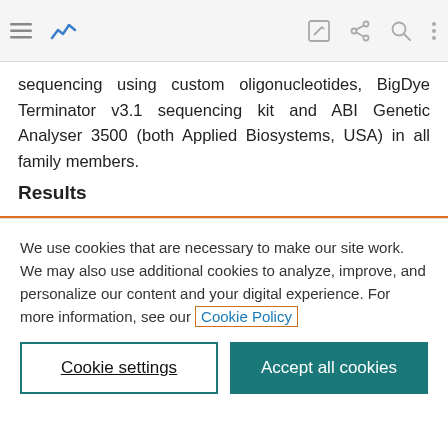[Browser toolbar with menu, activity, edit, share, search, and more icons]
sequencing using custom oligonucleotides, BigDye Terminator v3.1 sequencing kit and ABI Genetic Analyser 3500 (both Applied Biosystems, USA) in all family members.
Results
We use cookies that are necessary to make our site work. We may also use additional cookies to analyze, improve, and personalize our content and your digital experience. For more information, see our Cookie Policy
Cookie settings
Accept all cookies